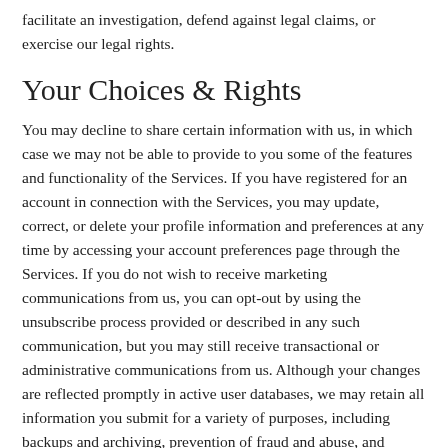facilitate an investigation, defend against legal claims, or exercise our legal rights.
Your Choices & Rights
You may decline to share certain information with us, in which case we may not be able to provide to you some of the features and functionality of the Services. If you have registered for an account in connection with the Services, you may update, correct, or delete your profile information and preferences at any time by accessing your account preferences page through the Services. If you do not wish to receive marketing communications from us, you can opt-out by using the unsubscribe process provided or described in any such communication, but you may still receive transactional or administrative communications from us. Although your changes are reflected promptly in active user databases, we may retain all information you submit for a variety of purposes, including backups and archiving, prevention of fraud and abuse, and analytics.
Depending on your location and subject to local law, you